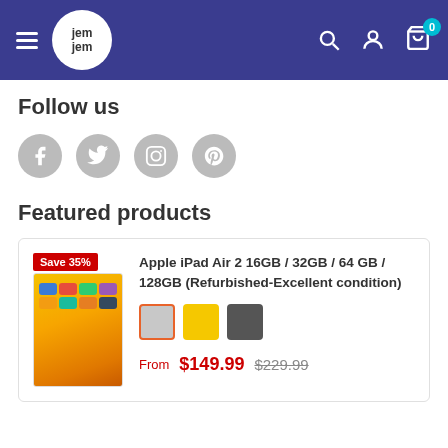JemJem navigation header with logo, search, account, and cart icons
Follow us
[Figure (other): Social media icons: Facebook, Twitter, Instagram, Pinterest]
Featured products
[Figure (photo): Product card: Apple iPad Air 2 showing device image with Save 35% badge, color swatches (silver, yellow, dark), price From $149.99 original $229.99]